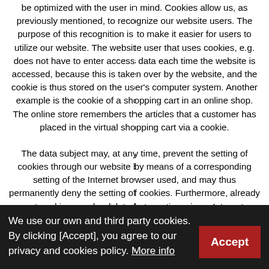be optimized with the user in mind. Cookies allow us, as previously mentioned, to recognize our website users. The purpose of this recognition is to make it easier for users to utilize our website. The website user that uses cookies, e.g. does not have to enter access data each time the website is accessed, because this is taken over by the website, and the cookie is thus stored on the user's computer system. Another example is the cookie of a shopping cart in an online shop. The online store remembers the articles that a customer has placed in the virtual shopping cart via a cookie.
The data subject may, at any time, prevent the setting of cookies through our website by means of a corresponding setting of the Internet browser used, and may thus permanently deny the setting of cookies. Furthermore, already set cookies may be deleted at any time via an Internet browser or other software programs. This is possible in all popular Internet browsers. If the data subject deactivates the setting of cookies in the Internet browser used, not all functions of
We use our own and third party cookies. By clicking [Accept], you agree to our privacy and cookies policy. More info